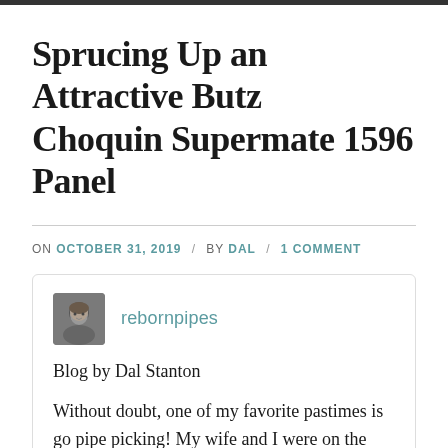Sprucing Up an Attractive Butz Choquin Supermate 1596 Panel
ON OCTOBER 31, 2019 / BY DAL / 1 COMMENT
rebornpipes
Blog by Dal Stanton
Without doubt, one of my favorite pastimes is go pipe picking!  My wife and I were on the Black Sea coast in the Bulgarian city of